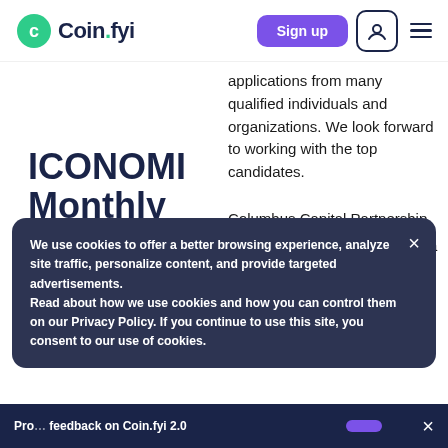Coin.fyi — Sign up
applications from many qualified individuals and organizations. We look forward to working with the top candidates.
ICONOMI Monthly Update
Columbus Capital Partnership
On August 11, we announced a partnership with ICONOMI's first — [continued]
medium.com
5 ye[ars ago]
We use cookies to offer a better browsing experience, analyze site traffic, personalize content, and provide targeted advertisements.
Read about how we use cookies and how you can control them on our Privacy Policy. If you continue to use this site, you consent to our use of cookies.
Pro[vide] feedback on Coin.fyi 2.0